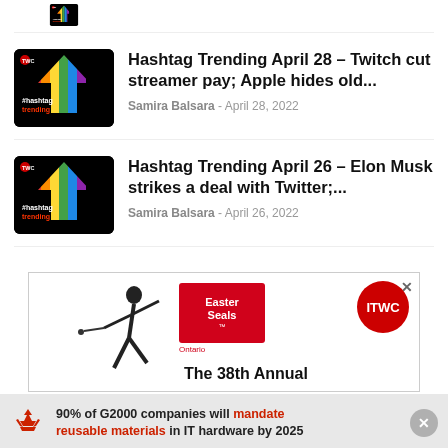[Figure (screenshot): Partially cropped hashtag trending thumbnail at top of page]
Hashtag Trending April 28 – Twitch cut streamer pay; Apple hides old...
Samira Balsara - April 28, 2022
Hashtag Trending April 26 – Elon Musk strikes a deal with Twitter;...
Samira Balsara - April 26, 2022
[Figure (infographic): Advertisement for Easter Seals Ontario 38th Annual golf event with ITWC logo and golfer silhouette]
90% of G2000 companies will mandate reusable materials in IT hardware by 2025